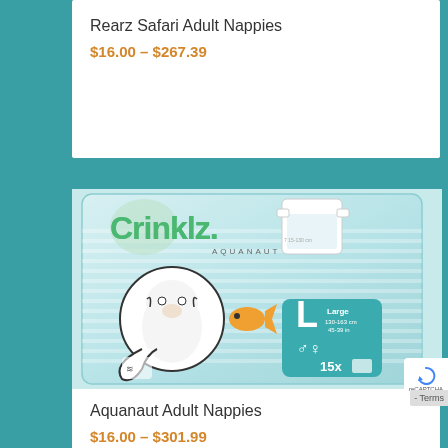Rearz Safari Adult Nappies
$16.00 – $267.39
[Figure (photo): Package of Crinklz Aquanaut adult nappies, Large size, 15 count. Package shows cartoon tiger in astronaut suit with fish, light blue color scheme.]
Aquanaut Adult Nappies
$16.00 – $301.99